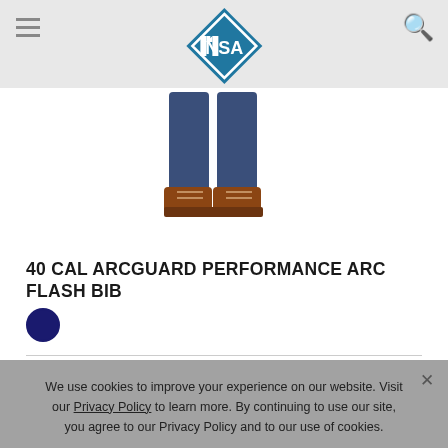[Figure (logo): National Safety Apparel logo – blue diamond with NSA lettering and brand name below]
[Figure (photo): Partial photo showing legs and boots of a person wearing arc flash bib overalls]
40 CAL ARCGUARD PERFORMANCE ARC FLASH BIB
[Figure (other): Dark navy blue circular color swatch]
We use cookies to improve your experience on our website. Visit our Privacy Policy to learn more. By continuing to use our site, you agree to our Privacy Policy and to our use of cookies.
OK